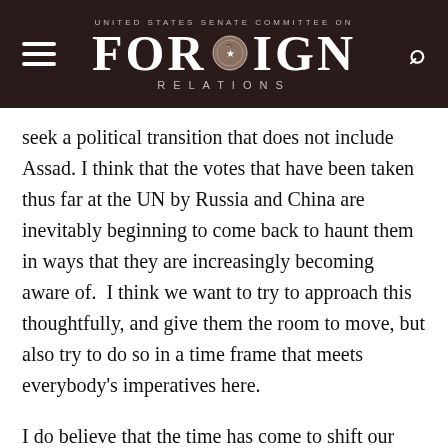UNITED STATES SENATE COMMITTEE ON FOREIGN RELATIONS
seek a political transition that does not include Assad. I think that the votes that have been taken thus far at the UN by Russia and China are inevitably beginning to come back to haunt them in ways that they are increasingly becoming aware of.  I think we want to try to approach this thoughtfully, and give them the room to move, but also try to do so in a time frame that meets everybody's imperatives here.
I do believe that the time has come to shift our emphasis, at the same time, to other multilateral vehicles – and not